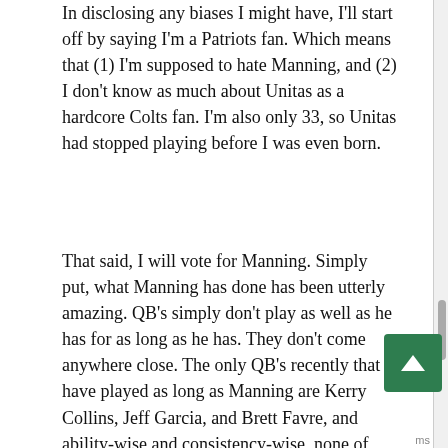In disclosing any biases I might have, I'll start off by saying I'm a Patriots fan. Which means that (1) I'm supposed to hate Manning, and (2) I don't know as much about Unitas as a hardcore Colts fan. I'm also only 33, so Unitas had stopped playing before I was even born.
That said, I will vote for Manning. Simply put, what Manning has done has been utterly amazing. QB's simply don't play as well as he has for as long as he has. They don't come anywhere close. The only QB's recently that have played as long as Manning are Kerry Collins, Jeff Garcia, and Brett Favre, and ability-wise and consistency-wise, none of them are in the same galaxy as Manning. If Manning ret[ired] tomorrow, the next best QB recent times (Tom Brady...and yes, this is a Patriots fan saying Manning is better than Brady, at least right now) would have to put up at least four or five